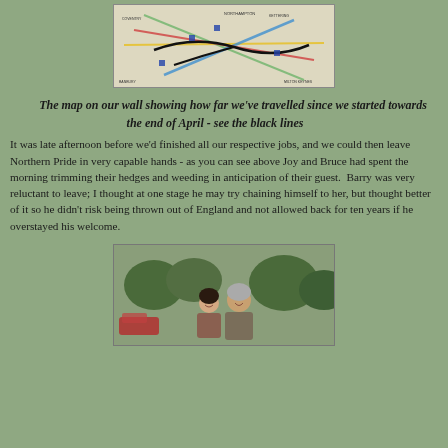[Figure (map): A map on a wall showing travel routes with coloured lines (black, red, yellow, blue, green) across a region of England, marking how far the authors have travelled since late April.]
The map on our wall showing how far we've travelled since we started towards the end of April - see the black lines
It was late afternoon before we'd finished all our respective jobs, and we could then leave Northern Pride in very capable hands - as you can see above Joy and Bruce had spent the morning trimming their hedges and weeding in anticipation of their guest.  Barry was very reluctant to leave; I thought at one stage he may try chaining himself to her, but thought better of it so he didn't risk being thrown out of England and not allowed back for ten years if he overstayed his welcome.
[Figure (photo): A photograph of two people (a woman and a man) standing together outdoors, with trees visible in the background, near what appears to be a red vehicle.]